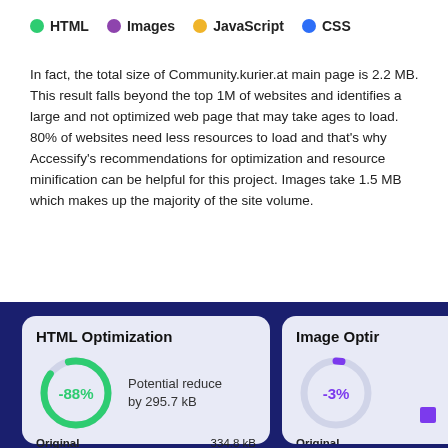[Figure (other): Legend with color dots: HTML (green), Images (purple), JavaScript (yellow), CSS (blue)]
In fact, the total size of Community.kurier.at main page is 2.2 MB. This result falls beyond the top 1M of websites and identifies a large and not optimized web page that may take ages to load. 80% of websites need less resources to load and that's why Accessify's recommendations for optimization and resource minification can be helpful for this project. Images take 1.5 MB which makes up the majority of the site volume.
[Figure (donut-chart): Donut chart showing -88% potential reduction. Potential reduce by 295.7 kB. Original: 334.8 kB]
[Figure (donut-chart): Donut chart showing -3%. Original shown.]